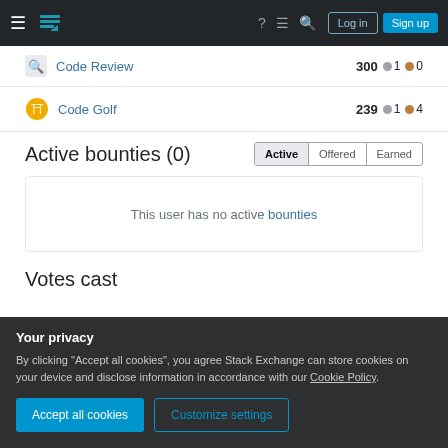Stack Exchange navigation bar with Log in and Sign up buttons
Code Review   300 ● 1 ● 0
Code Golf   239 ● 1 ● 4
Active bounties (0)
This user has no active bounties
Votes cast
Your privacy
By clicking "Accept all cookies", you agree Stack Exchange can store cookies on your device and disclose information in accordance with our Cookie Policy.